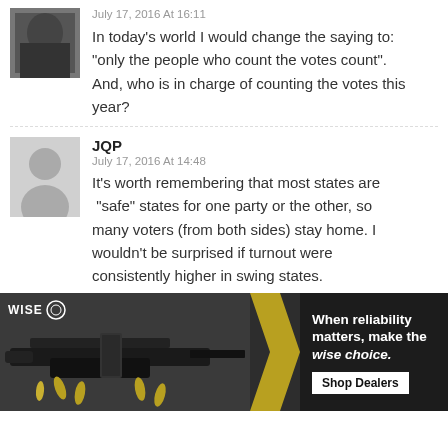July 17, 2016 At 16:11
In today's world I would change the saying to: "only the people who count the votes count". And, who is in charge of counting the votes this year?
JQP
July 17, 2016 At 14:48
It's worth remembering that most states are "safe" states for one party or the other, so many voters (from both sides) stay home. I wouldn't be surprised if turnout were consistently higher in swing states.
[Figure (photo): Advertisement banner for WISE firearms/ammunition brand. Shows a dark background with an AR-style rifle and ammunition shells on the left side. Text on right reads 'When reliability matters, make the wise choice.' with a 'Shop Dealers' button. WISE logo with circle emblem top left.]